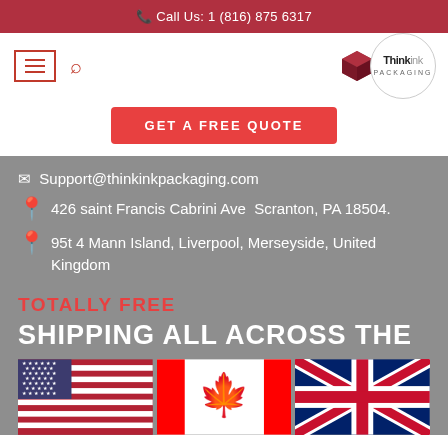📞 Call Us: 1 (816) 875 6317
[Figure (logo): Think Ink Packaging logo with box icon and circle outline]
GET A FREE QUOTE
✉ Support@thinkinkpackaging.com
📍 426 saint Francis Cabrini Ave  Scranton, PA 18504.
📍 95t 4 Mann Island, Liverpool, Merseyside, United Kingdom
TOTALLY FREE
SHIPPING ALL ACROSS THE
[Figure (illustration): Three country flags side by side: USA flag, Canada flag, UK flag]